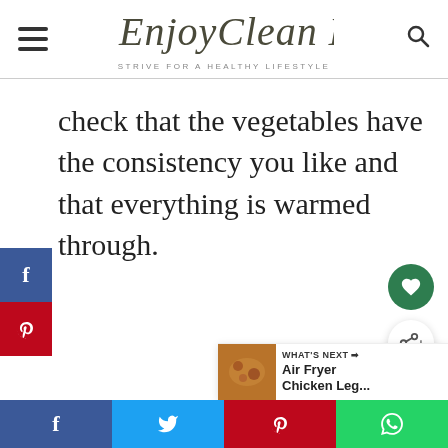EnjoyClean Eating — Strive for a Healthy Lifestyle
check that the vegetables have the consistency you like and that everything is warmed through.
[Figure (other): Side social share buttons: Facebook (blue) and Pinterest (red)]
[Figure (other): Floating action buttons: heart (green circle) and share (white circle)]
[Figure (other): What's Next panel: thumbnail image with text 'WHAT'S NEXT → Air Fryer Chicken Leg...']
[Figure (other): Bottom social share bar: Facebook, Twitter, Pinterest, WhatsApp]